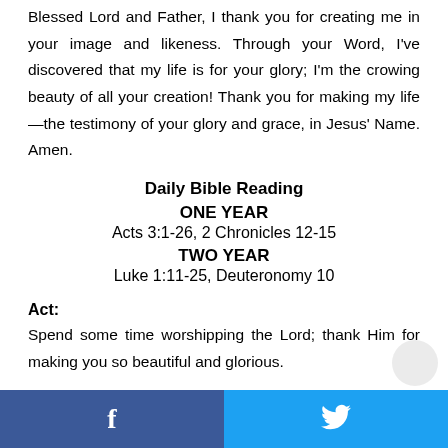Blessed Lord and Father, I thank you for creating me in your image and likeness. Through your Word, I've discovered that my life is for your glory; I'm the crowing beauty of all your creation! Thank you for making my life—the testimony of your glory and grace, in Jesus' Name. Amen.
Daily Bible Reading
ONE YEAR
Acts 3:1-26, 2 Chronicles 12-15
TWO YEAR
Luke 1:11-25, Deuteronomy 10
Act:
Spend some time worshipping the Lord; thank Him for making you so beautiful and glorious.